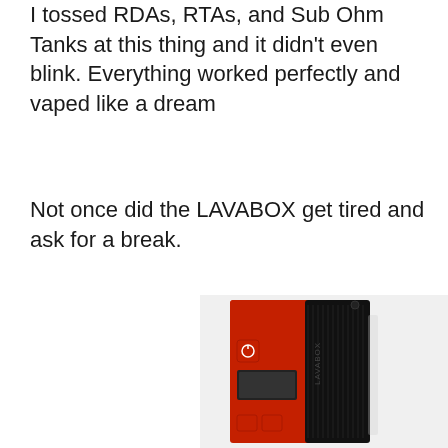I tossed RDAs, RTAs, and Sub Ohm Tanks at this thing and it didn't even blink. Everything worked perfectly and vaped like a dream
Not once did the LAVABOX get tired and ask for a break.
[Figure (photo): Photo of the LAVABOX vape mod device in red and black colorway, showing front face with power button and screen, and textured black panel on the right side.]